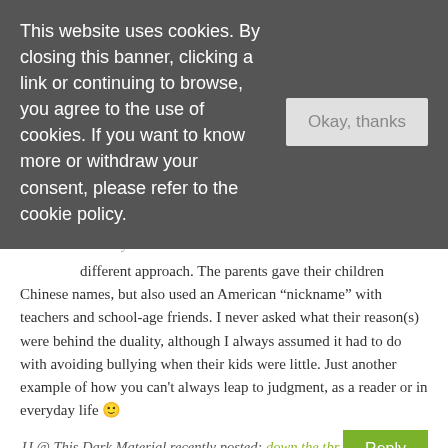This website uses cookies. By closing this banner, clicking a link or continuing to browse, you agree to the use of cookies. If you want to know more or withdraw your consent, please refer to the cookie policy.
Okay, thanks
Already has friends who'd rather to find different approach. The parents gave their children Chinese names, but also used an American “nickname” with teachers and school-age friends. I never asked what their reason(s) were behind the duality, although I always assumed it had to do with avoiding bullying when their kids were little. Just another example of how you can't always leap to judgment, as a reader or in everyday life 🙂
JJ @ This Dark Material recently posted: down the tbr hole #16
april 17, 2018, 11:37 am
Reply